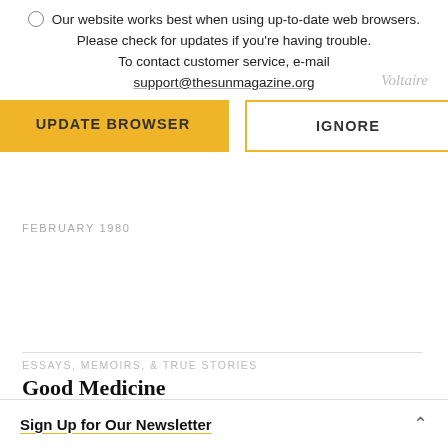Our website works best when using up-to-date web browsers. Please check for updates if you're having trouble. To contact customer service, e-mail support@thesunmagazine.org
Voltaire
[Figure (other): UPDATE BROWSER and IGNORE buttons — browser update notification overlay]
FEBRUARY 1980
ESSAYS, MEMOIRS, & TRUE STORIES
Good Medicine
An Unorthodox Prescription For Health
I can tell you everything you need to know
Sign Up for Our Newsletter